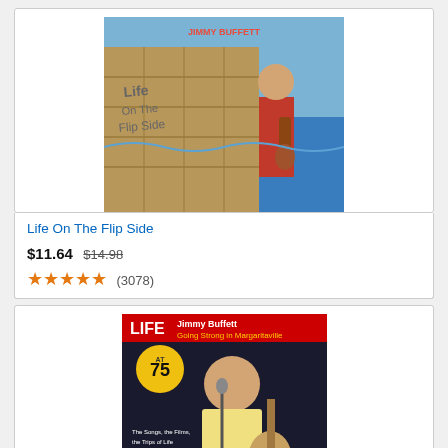[Figure (photo): Album cover for 'Life On The Flip Side' by Jimmy Buffett showing a man with guitar standing by a stone wall near the ocean]
Life On The Flip Side
$11.64  $14.98
(3078)
[Figure (photo): Magazine cover for 'LIFE Jimmy Buffet: Going Strong in Margaritaville' showing Jimmy Buffett performing with a guitar, with a '75' badge]
LIFE Jimmy Buffet: Going Strong in Margaritaville
$14.99  prime
(233)